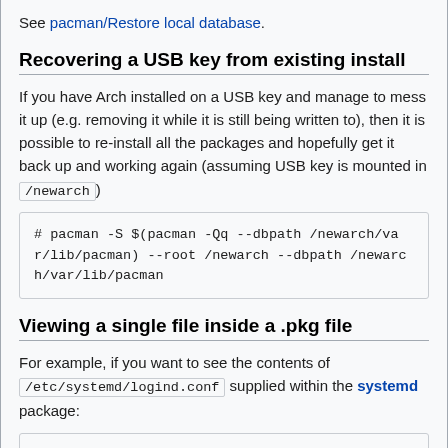See pacman/Restore local database.
Recovering a USB key from existing install
If you have Arch installed on a USB key and manage to mess it up (e.g. removing it while it is still being written to), then it is possible to re-install all the packages and hopefully get it back up and working again (assuming USB key is mounted in /newarch)
# pacman -S $(pacman -Qq --dbpath /newarch/var/lib/pacman) --root /newarch --dbpath /newarch/var/lib/pacman
Viewing a single file inside a .pkg file
For example, if you want to see the contents of /etc/systemd/logind.conf supplied within the systemd package: